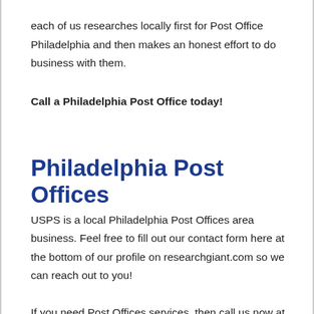each of us researches locally first for Post Office Philadelphia and then makes an honest effort to do business with them.
Call a Philadelphia Post Office today!
Philadelphia Post Offices
USPS is a local Philadelphia Post Offices area business. Feel free to fill out our contact form here at the bottom of our profile on researchgiant.com so we can reach out to you!
If you need Post Offices services, then call us now at (215) 235-3867. We are always happy to provide you with quality Philadelphia Post Offices and excellent customer service.